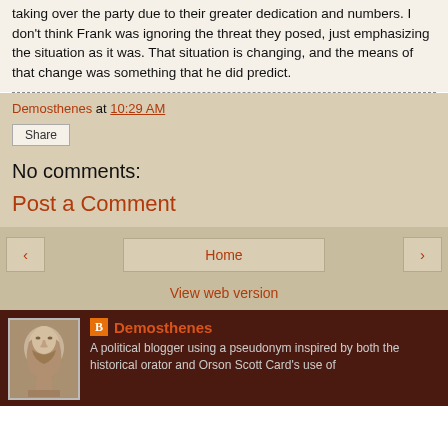taking over the party due to their greater dedication and numbers. I don't think Frank was ignoring the threat they posed, just emphasizing the situation as it was. That situation is changing, and the means of that change was something that he did predict.
Demosthenes at 10:29 AM
Share
No comments:
Post a Comment
‹
Home
›
View web version
[Figure (photo): Bust sculpture of a bearded man, likely ancient Greek orator Demosthenes]
Demosthenes
A political blogger using a pseudonym inspired by both the historical orator and Orson Scott Card's use of